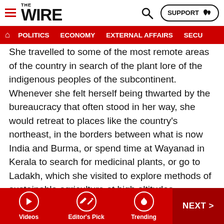THE WIRE
POLITICS   ECONOMY   EXTERNAL AFFAIRS   SECU...
She travelled to some of the most remote areas of the country in search of the plant lore of the indigenous peoples of the subcontinent. Whenever she felt herself being thwarted by the bureaucracy that often stood in her way, she would retreat to places like the country's northeast, in the borders between what is now India and Burma, or spend time at Wayanad in Kerala to search for medicinal plants, or go to Ladakh, which she visited to explore methods of sustainable agriculture at high altitudes.
As one who did not subscribe to the “nature versus nurture” conflicts, it may be worthwhile to describe the circumstances of her early life at Tellicherry (now
Videos   Editor's Pick   Trending   NEXT >